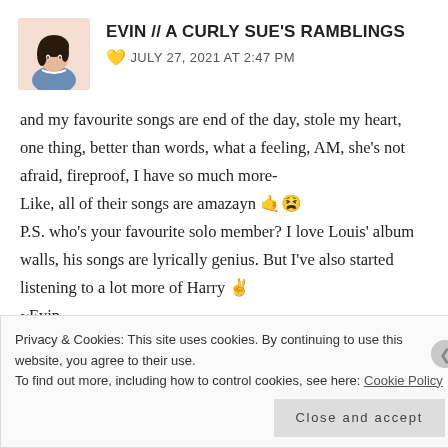EVIN // A CURLY SUE'S RAMBLINGS — JULY 27, 2021 AT 2:47 PM
and my favourite songs are end of the day, stole my heart, one thing, better than words, what a feeling, AM, she's not afraid, fireproof, I have so much more-
Like, all of their songs are amazayn 🤙😫
P.S. who's your favourite solo member? I love Louis' album walls, his songs are lyrically genius. But I've also started listening to a lot more of Harry ✌
~Evin
Privacy & Cookies: This site uses cookies. By continuing to use this website, you agree to their use.
To find out more, including how to control cookies, see here: Cookie Policy
Close and accept